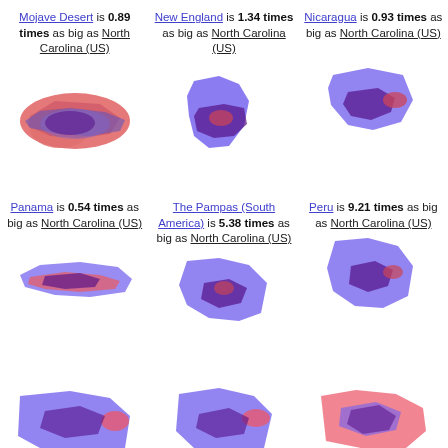Mojave Desert is 0.89 times as big as North Carolina (US)
[Figure (map): Overlay map comparing Mojave Desert (red/pink) with North Carolina (purple/blue)]
New England is 1.34 times as big as North Carolina (US)
[Figure (map): Overlay map comparing New England (purple/blue) with North Carolina (dark purple)]
Nicaragua is 0.93 times as big as North Carolina (US)
[Figure (map): Overlay map comparing Nicaragua (purple/blue) with North Carolina (dark purple/red)]
Panama is 0.54 times as big as North Carolina (US)
[Figure (map): Overlay map comparing Panama (red/pink) with North Carolina (purple/blue)]
The Pampas (South America) is 5.38 times as big as North Carolina (US)
[Figure (map): Overlay map comparing The Pampas (purple/blue) with North Carolina (dark purple)]
Peru is 9.21 times as big as North Carolina (US)
[Figure (map): Overlay map comparing Peru (purple/blue) with North Carolina (dark purple/red)]